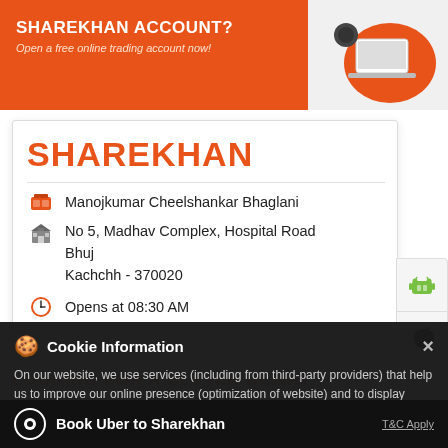[Figure (screenshot): Sharekhan orange banner with text 'SHAREKHAN ACCOUNT? Open a free online trading account now!' and laptop illustration on the right]
SHAREKHAN
Manojkumar Cheelshankar Bhaglani
No 5, Madhav Complex, Hospital Road
Bhuj
Kachchh - 370020
Opens at 08:30 AM
Cookie Information
On our website, we use services (including from third-party providers) that help us to improve our online presence (optimization of website) and to display content that is geared to their interests. We need your consent before being able to use these services.
LOOKING FOR A BETTER DEMAT
Book Uber to Sharekhan
T&C Apply